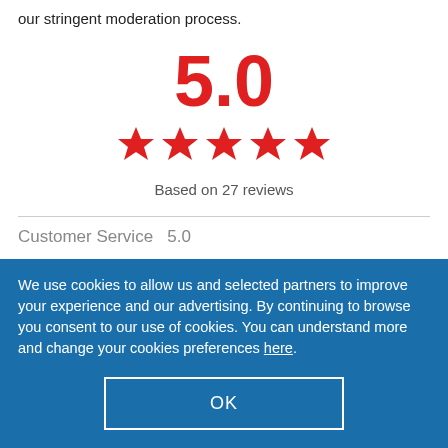our stringent moderation process.
5.0
[Figure (other): Five red stars rating icon]
Based on 27 reviews
Customer Service  5.0
We use cookies to allow us and selected partners to improve your experience and our advertising. By continuing to browse you consent to our use of cookies. You can understand more and change your cookies preferences here.
OK